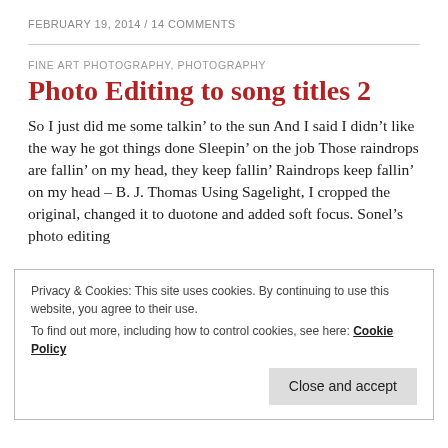FEBRUARY 19, 2014 / 14 COMMENTS
FINE ART PHOTOGRAPHY, PHOTOGRAPHY
Photo Editing to song titles 2
So I just did me some talkin’ to the sun And I said I didn’t like the way he got things done Sleepin’ on the job Those raindrops are fallin’ on my head, they keep fallin’ Raindrops keep fallin’ on my head – B. J. Thomas Using Sagelight, I cropped the original, changed it to duotone and added soft focus. Sonel’s photo editing
Privacy & Cookies: This site uses cookies. By continuing to use this website, you agree to their use.
To find out more, including how to control cookies, see here: Cookie Policy
Close and accept